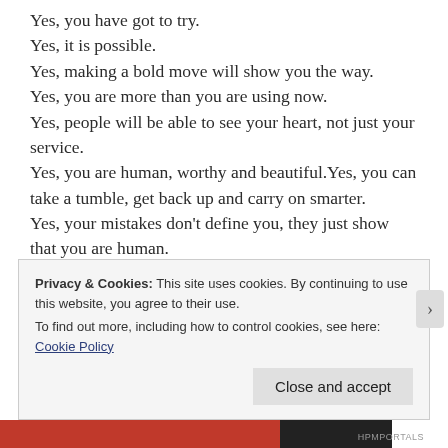Yes, you have got to try.
Yes, it is possible.
Yes, making a bold move will show you the way.
Yes, you are more than you are using now.
Yes, people will be able to see your heart, not just your service.
Yes, you are human, worthy and beautiful.Yes, you can take a tumble, get back up and carry on smarter.
Yes, your mistakes don't define you, they just show that you are human.
Yes, what you love is reasonable, sane and healthy.
Yes, others will get the damn joke if you tell it with
Privacy & Cookies: This site uses cookies. By continuing to use this website, you agree to their use.
To find out more, including how to control cookies, see here: Cookie Policy
Close and accept